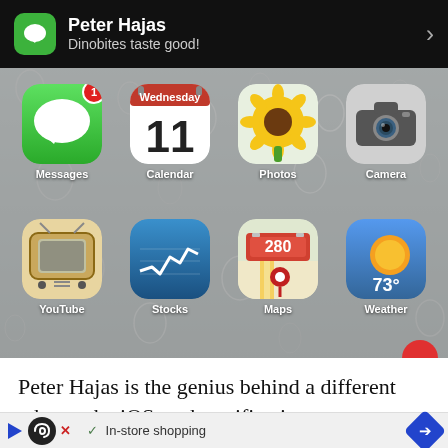[Figure (screenshot): iOS iPhone home screen screenshot showing a notification banner at the top from Peter Hajas (Messages app) saying 'Dinobites taste good!', with a chevron arrow on the right. Below the banner is the iOS home screen with app icons on a rainy glass wallpaper: Messages (with badge 1), Calendar (showing Wednesday 11), Photos (sunflower), Camera, YouTube, Stocks, Maps, Weather (73°).]
Peter Hajas is the genius behind a different take on the iOS push notification system called MobileNotifer. He's a prominent figure in the jailbre... sourc...
[Figure (screenshot): Advertisement bar at bottom: black circular logo with infinity symbol, play triangle, X button, checkmark with 'In-store shopping' text, and blue diamond navigation arrow.]